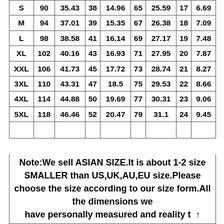| Size | cm | inch | cm | inch | cm | inch | cm | inch |
| --- | --- | --- | --- | --- | --- | --- | --- | --- |
| S | 90 | 35.43 | 38 | 14.96 | 65 | 25.59 | 17 | 6.69 |
| M | 94 | 37.01 | 39 | 15.35 | 67 | 26.38 | 18 | 7.09 |
| L | 98 | 38.58 | 41 | 16.14 | 69 | 27.17 | 19 | 7.48 |
| XL | 102 | 40.16 | 43 | 16.93 | 71 | 27.95 | 20 | 7.87 |
| XXL | 106 | 41.73 | 45 | 17.72 | 73 | 28.74 | 21 | 8.27 |
| 3XL | 110 | 43.31 | 47 | 18.5 | 75 | 29.53 | 22 | 8.66 |
| 4XL | 114 | 44.88 | 50 | 19.69 | 77 | 30.31 | 23 | 9.06 |
| 5XL | 118 | 46.46 | 52 | 20.47 | 79 | 31.1 | 24 | 9.45 |
|  |  |  |  |  |  |  |  |  |
Note:We sell ASIAN SIZE.It is about 1-2 size SMALLER than US,UK,AU,EU size.Please choose the size according to our size form.All the dimensions we have personally measured and reality t When you place the order please live the